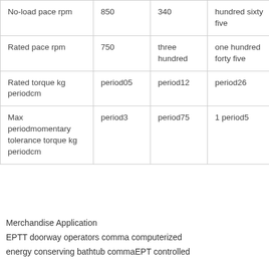| No-load pace rpm | 850 | 340 | hundred sixty five | a hu |
| Rated pace rpm | 750 | three hundred | one hundred forty five | 86 |
| Rated torque kg periodcm | period05 | period12 | period26 | pe |
| Max periodmomentary tolerance torque kg periodcm | period3 | period75 | 1 period5 | tw pe |
Merchandise Application
EPTT doorway operators comma computerized energy conserving bathtub commaEPT controlled
energy conserving bathtub commaEPT controlled